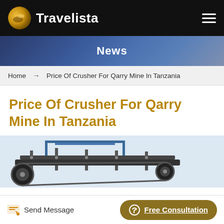Travelista
News
Home → Price Of Crusher For Qarry Mine In Tanzania
Price Of Crusher For Qarry Mine In Tanzania
[Figure (photo): Industrial crusher/mining equipment machine photographed against a light blue background]
Send Message
Free Consultation